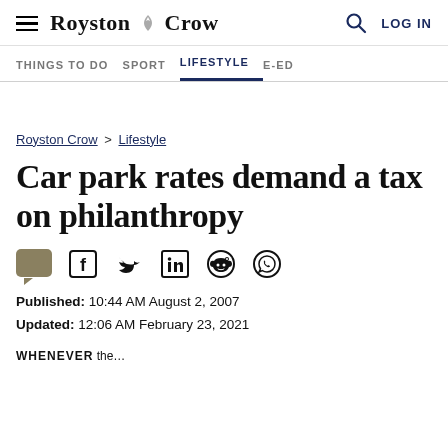Royston Crow — LOG IN
THINGS TO DO   SPORT   LIFESTYLE   E-ED
Royston Crow > Lifestyle
Car park rates demand a tax on philanthropy
Published: 10:44 AM August 2, 2007
Updated: 12:06 AM February 23, 2021
WHENEVER the...